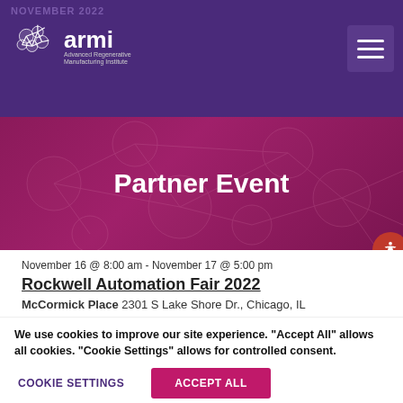NOVEMBER 2022
[Figure (logo): ARMI - Advanced Regenerative Manufacturing Institute logo with geometric flower/molecule icon in white on purple background]
Partner Event
November 16 @ 8:00 am - November 17 @ 5:00 pm
Rockwell Automation Fair 2022
McCormick Place 2301 S Lake Shore Dr., Chicago, IL
We use cookies to improve our site experience. “Accept All” allows all cookies. “Cookie Settings” allows for controlled consent.
COOKIE SETTINGS
ACCEPT ALL